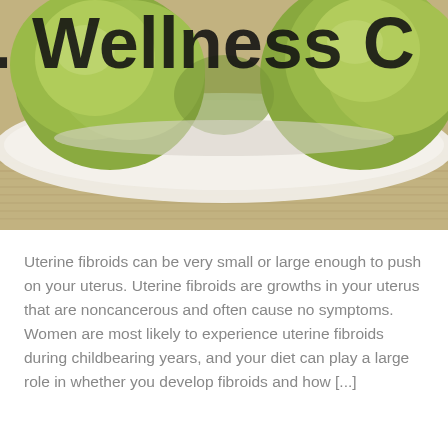[Figure (photo): Close-up photograph of green vegetables (likely brussels sprouts or similar green vegetables) on a white plate against a wooden surface, with bold dark text overlay reading '. Wellness C' (partially cropped)]
Uterine fibroids can be very small or large enough to push on your uterus. Uterine fibroids are growths in your uterus that are noncancerous and often cause no symptoms. Women are most likely to experience uterine fibroids during childbearing years, and your diet can play a large role in whether you develop fibroids and how [...]